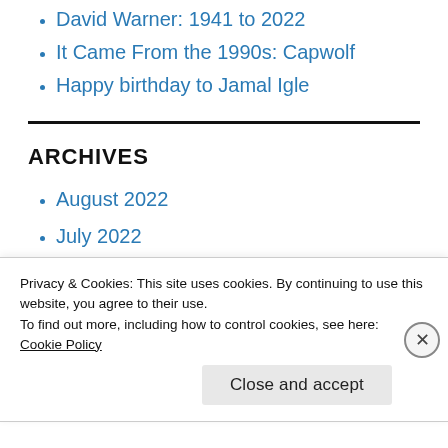David Warner: 1941 to 2022
It Came From the 1990s: Capwolf
Happy birthday to Jamal Igle
ARCHIVES
August 2022
July 2022
June 2022
Privacy & Cookies: This site uses cookies. By continuing to use this website, you agree to their use.
To find out more, including how to control cookies, see here:
Cookie Policy
Close and accept